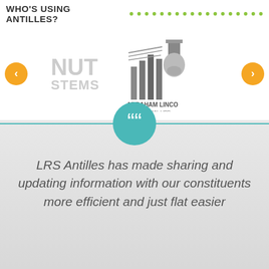WHO'S USING ANTILLES?
[Figure (logo): Carousel of client logos: partial NUT SYSTEMS logo on left, Abraham Lincoln Presidential Library Foundation logo on right, with orange left and right arrow navigation buttons]
LRS Antilles has made sharing and updating information with our constituents more efficient and just flat easier